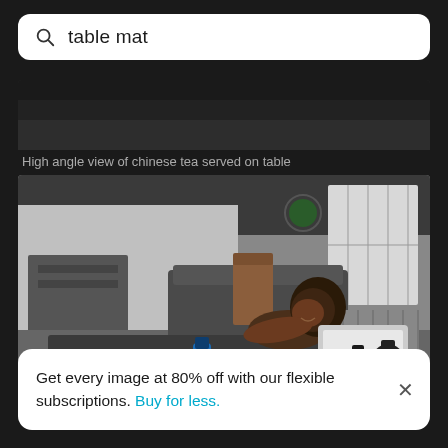[Figure (screenshot): Search bar with magnifying glass icon and query 'table mat']
[Figure (photo): Cropped dark image, top portion of a table mat photo showing a dark background]
High angle view of chinese tea served on table
[Figure (photo): Woman lying on a gym mat in a fitness studio, working on a laptop, with dumbbells and a water bottle nearby]
Get every image at 80% off with our flexible subscriptions. Buy for less.